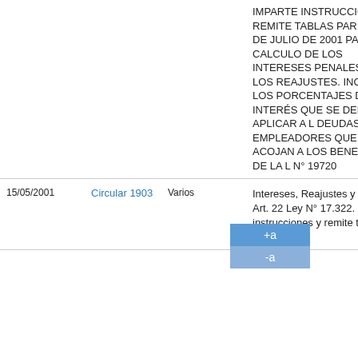| Fecha | Documento | Destinatario | Descripción |
| --- | --- | --- | --- |
|  |  |  | IMPARTE INSTRUCCIONES Y REMITE TABLAS PARA EL MES DE JULIO DE 2001 PARA EL CALCULO DE LOS INTERESES PENALES DE LOS REAJUSTES. INCLUYEN LOS PORCENTAJES DE INTERÉS QUE SE DEBEN APLICAR A LAS DEUDAS DE EMPLEADORES QUE SE ACOJAN A LOS BENEFICIOS DE LA LEY N° 19720 |
| 15/05/2001 | Circular 1903 | Varios | Intereses, Reajustes y Multas Art. 22 Ley N° 17.322. Imparte instrucciones y remite tablas para el |